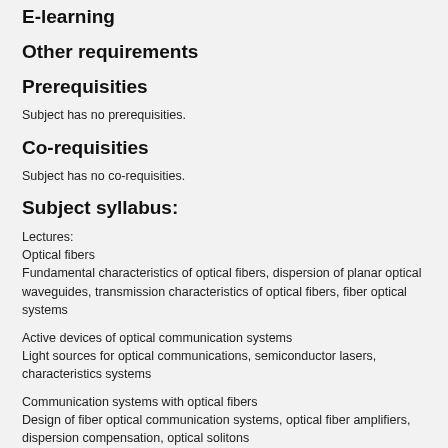E-learning
Other requirements
Prerequisities
Subject has no prerequisities.
Co-requisities
Subject has no co-requisities.
Subject syllabus:
Lectures:
Optical fibers
Fundamental characteristics of optical fibers, dispersion of planar optical waveguides, transmission characteristics of optical fibers, fiber optical systems
Active devices of optical communication systems
Light sources for optical communications, semiconductor lasers, characteristics systems
Communication systems with optical fibers
Design of fiber optical communication systems, optical fiber amplifiers, dispersion compensation, optical solitons